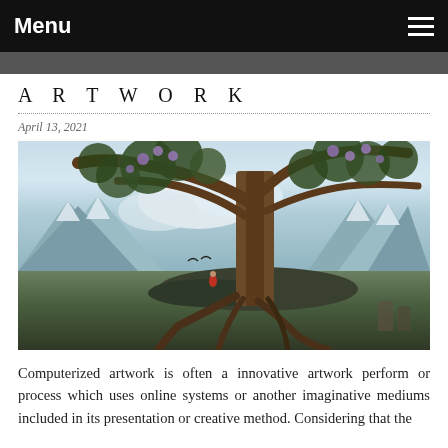Menu
ARTWORK
April 13, 2021
[Figure (illustration): Fantasy digital painting of a large ancient tree with purple blossoms on a rocky outcrop, a small figure in red standing at its base with birds, snow-capped mountains and a river valley in the background under a dramatic sky.]
Computerized artwork is often a innovative artwork perform or process which uses online systems or another imaginative mediums included in its presentation or creative method. Considering that the